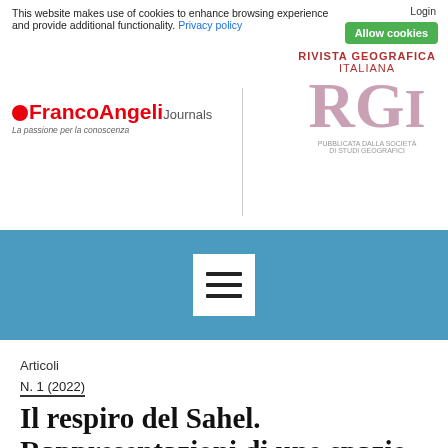This website makes use of cookies to enhance browsing experience and provide additional functionality. Privacy policy | Login | Allow cookies
[Figure (logo): FrancoAngeli Journals logo with red text and circular icon, tagline: La passione per la conoscenza]
[Figure (logo): Rivista Geografica Italiana (RGI) logo with stylized large pink RGI letters and red header text]
[Figure (other): Blue navigation bar with hamburger menu icon (three horizontal lines) on white square background]
Articoli
N. 1 (2022)
Il respiro del Sahel. Rappresentazioni di uno spazio in movimento